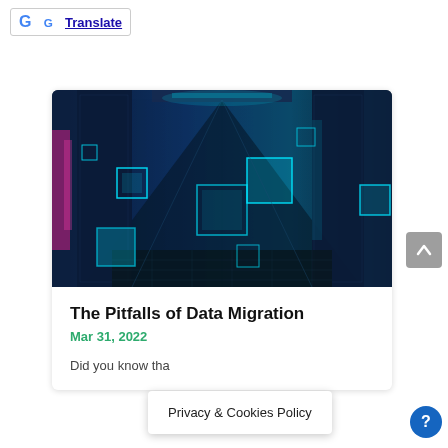[Figure (logo): Google Translate button with Google G logo and underlined blue Translate text, inside a bordered box]
[Figure (photo): Data center corridor with server racks lit in blue/teal/purple light with floating glowing cube outlines overlaid]
The Pitfalls of Data Migration
Mar 31, 2022
Did you know tha
Privacy & Cookies Policy